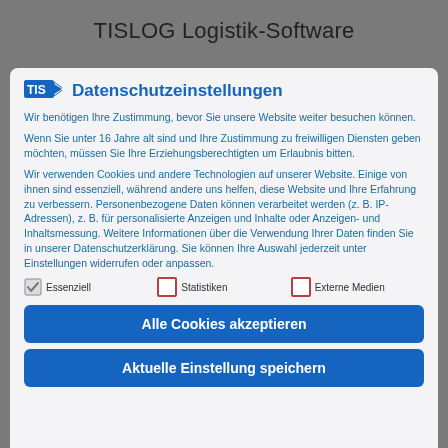TISLOG Logistik-Software
Datenschutzeinstellungen
Wir benötigen Ihre Zustimmung, bevor Sie unsere Website weiter besuchen können.
Wenn Sie unter 16 Jahre alt sind und Ihre Zustimmung zu freiwilligen Diensten geben möchten, müssen Sie Ihre Erziehungsberechtigten um Erlaubnis bitten.
Wir verwenden Cookies und andere Technologien auf unserer Website. Einige von ihnen sind essenziell, während andere uns helfen, diese Website und Ihre Erfahrung zu verbessern. Personenbezogene Daten können verarbeitet werden (z. B. IP-Adressen), z. B. für personalisierte Anzeigen und Inhalte oder Anzeigen- und Inhaltsmessung. Weitere Informationen über die Verwendung Ihrer Daten finden Sie in unserer Datenschutzerklärung. Sie können Ihre Auswahl jederzeit unter Einstellungen widerrufen oder anpassen.
Essenziell
Statistiken
Externe Medien
Alle Cookies akzeptieren
Aktuelle Einstellung speichern